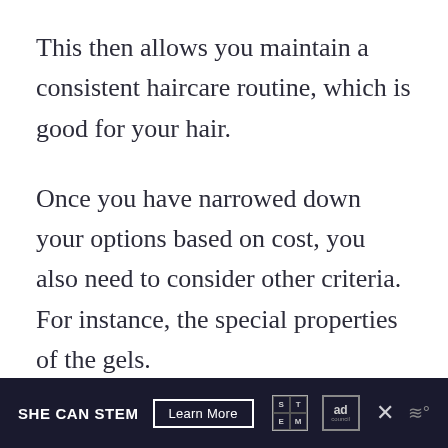This then allows you maintain a consistent haircare routine, which is good for your hair.
Once you have narrowed down your options based on cost, you also need to consider other criteria. For instance, the special properties of the gels.
Below are few properties you may want your hair gel to have based on your particular hair needs.
SHE CAN STEM  Learn More